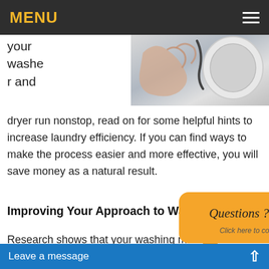MENU
[Figure (photo): Person's hand near a washing machine drum, close-up photo]
your washer and dryer run nonstop, read on for some helpful hints to increase laundry efficiency. If you can find ways to make the process easier and more effective, you will save money as a natural result.
Improving Your Approach to Washing
Research shows that your washing machine runs most efficiently with full loads. So, unless you have delicate items or items that are prone to color bleed, don't hesitate to mix up load means you use less wa item, and that means more efficient laundering. Except in the case of highly so both the wash and rin
[Figure (infographic): Orange speech bubble popup with 'Questions ? Click here to contact us' and a close X button]
Leave a message